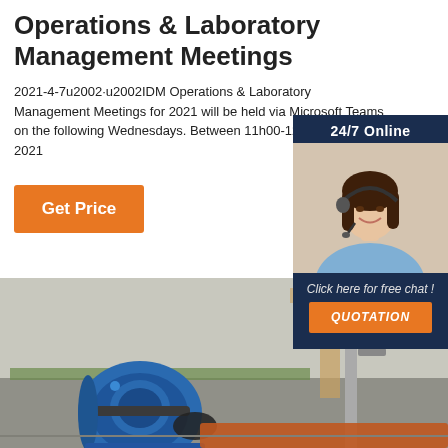Operations & Laboratory Management Meetings
2021-4-7u2002·u2002IDM Operations & Laboratory Management Meetings for 2021 will be held via Microsoft Teams on the following Wednesdays. Between 11h00-12... February 2021
Get Price
[Figure (photo): Customer service representative with headset, 24/7 Online banner, and Click here for free chat / QUOTATION call-to-action sidebar]
[Figure (photo): Industrial blue winch/drum equipment photographed outdoors on a flat surface with machinery in background]